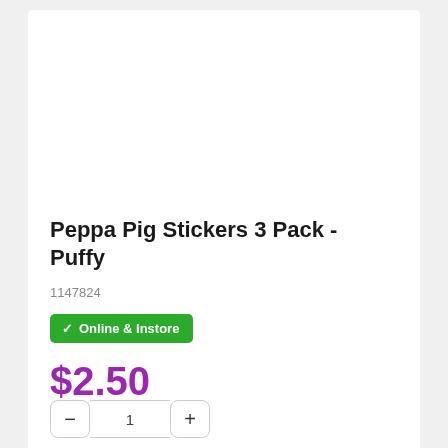[Figure (photo): Product image area (white/empty) for Peppa Pig Stickers 3 Pack Puffy]
Peppa Pig Stickers 3 Pack - Puffy
1147824
✓ Online & Instore
$2.50